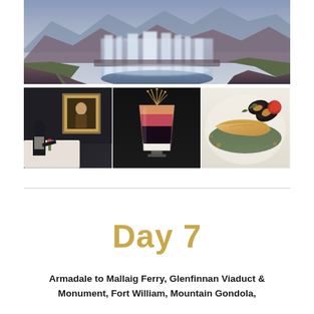[Figure (photo): Collage of four photos: top - wide panoramic waterfall scene with rocky mountains in Scotland (Fairy Pools, Isle of Skye style), bottom-left - a waiter/person at a restaurant table with a framed portrait painting on wall, bottom-center - an artistic layered dessert in a glass with garnish, bottom-right - a gourmet seafood plate with fish fillet, mussels and green sauce]
Day 7
Armadale to Mallaig Ferry, Glenfinnan Viaduct & Monument, Fort William, Mountain Gondola,